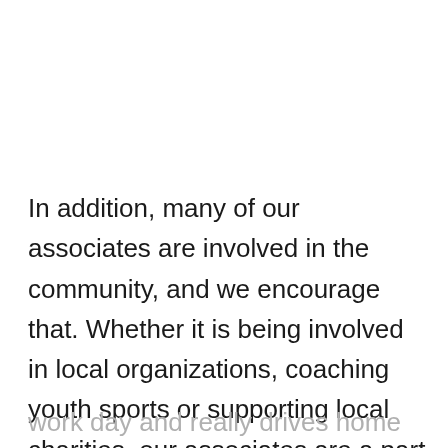In addition, many of our associates are involved in the community, and we encourage that. Whether it is being involved in local organizations, coaching youth sports or supporting local charities, our associates are a part of our community beyond the walls of Channellock Inc. This sense of local pride carries over into the
work day and really drives home what it means to be an American manufacturing company.